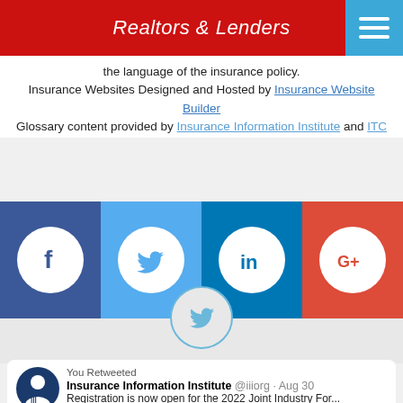Realtors & Lenders
the language of the insurance policy.
Insurance Websites Designed and Hosted by Insurance Website Builder
Glossary content provided by Insurance Information Institute and ITC
[Figure (infographic): Social media icon bar with Facebook (dark blue), Twitter (light blue), LinkedIn (dark blue), and Google+ (red) circular icons on colored background strips]
[Figure (infographic): Twitter bird icon inside a thin circle outline on grey background]
You Retweeted
Insurance Information Institute @iiiorg · Aug 30
Registration is now open for the 2022 Joint Industry For...